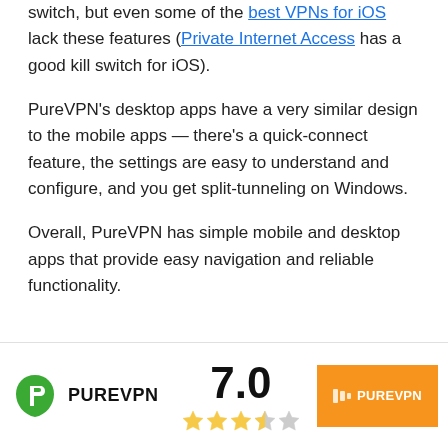switch, but even some of the best VPNs for iOS lack these features (Private Internet Access has a good kill switch for iOS).
PureVPN's desktop apps have a very similar design to the mobile apps — there's a quick-connect feature, the settings are easy to understand and configure, and you get split-tunneling on Windows.
Overall, PureVPN has simple mobile and desktop apps that provide easy navigation and reliable functionality.
[Figure (other): Orange button with white text: TRY PUREVPN NOW with arrow icon]
[Figure (other): Footer bar with PureVPN logo (green shield with P), brand name PUREVPN, rating score 7.0, 3.5 stars, and orange PUREVPN button]